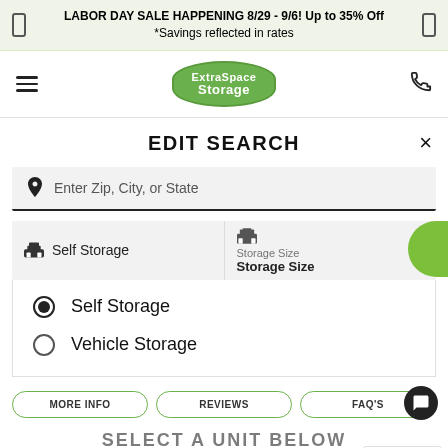LABOR DAY SALE HAPPENING 8/29 - 9/6! Up to 35% Off
*Savings reflected in rates
[Figure (logo): Extra Space Storage logo in green rounded badge shape]
EDIT SEARCH
Enter Zip, City, or State
Self Storage
Storage Size
Storage Size
Self Storage (selected radio button)
Vehicle Storage
MORE INFO   REVIEWS   FAQ'S
[Figure (screenshot): TrustedSite badge at bottom right]